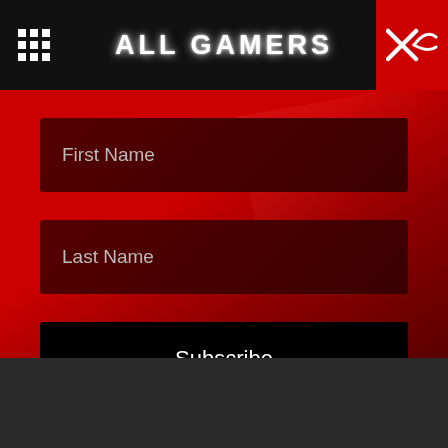ALL GAMERS
First Name
Last Name
Subscribe
[Figure (logo): HyperX logo in red with silver X swoosh on dark background]
[Figure (infographic): Social media icons: Twitter, Facebook, Instagram, YouTube in circular dark buttons]